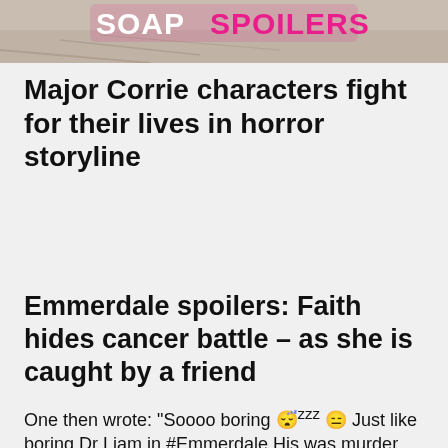[Figure (screenshot): Banner image showing 'SOAP SPOILERS' logo text in white and pink on a background photo, partially cropped at top]
Major Corrie characters fight for their lives in horror storyline
Emmerdale spoilers: Faith hides cancer battle – as she is caught by a friend
One then wrote: "Soooo boring 😴zzz 😑 Just like boring Dr Liam in #Emmerdale His was murder mystery trips."